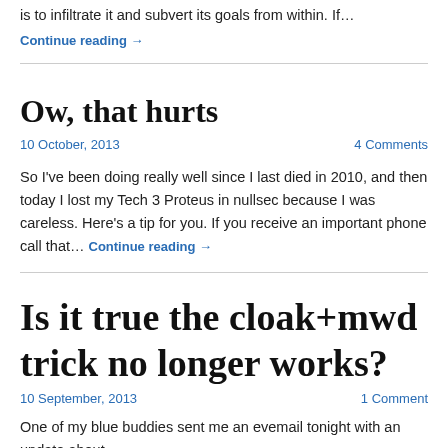is to infiltrate it and subvert its goals from within. If…
Continue reading →
Ow, that hurts
10 October, 2013    4 Comments
So I've been doing really well since I last died in 2010, and then today I lost my Tech 3 Proteus in nullsec because I was careless. Here's a tip for you. If you receive an important phone call that… Continue reading →
Is it true the cloak+mwd trick no longer works?
10 September, 2013    1 Comment
One of my blue buddies sent me an evemail tonight with an update about